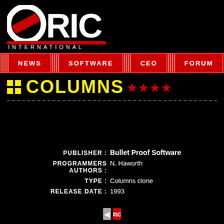[Figure (logo): Oric International logo — white ORIC text with red diagonal slash through O, INTERNATIONAL below in white spaced letters, on black background]
NEWS | SOFTWARE | CEO | FORUM | FAQ
COLUMNS ★★★★
| Field | Value |
| --- | --- |
| PUBLISHER : | Bullet Proof Software |
| PROGRAMMERS AUTHORS : | N. Haworth |
| TYPE : | Columns clone |
| RELEASE DATE : | 1993 |